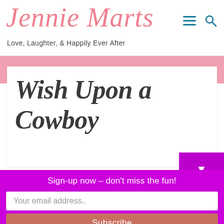Jennie Marts — Love, Laughter, & Happily Ever After
Wish Upon a Cowboy
Sign-up now – don't miss the fun!
Your email address..
Subscribe